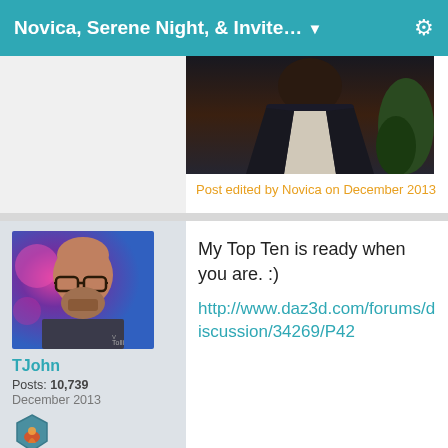Novica, Serene Night, & Invite...
[Figure (photo): Partial photo of a person in dark clothing with a white top, partially cropped]
Post edited by Novica on December 2013
[Figure (photo): Avatar photo of TJohn - a man with glasses and a beard against a colorful purple/pink background]
TJohn
Posts: 10,739
December 2013
[Figure (illustration): Hexagonal badge/achievement icon with flame design]
My Top Ten is ready when you are. :)
http://www.daz3d.com/forums/discussion/34269/P42
[Figure (photo): Partial avatar photo - appears to show a person or animal, mostly cropped]
Great list- I was going to put